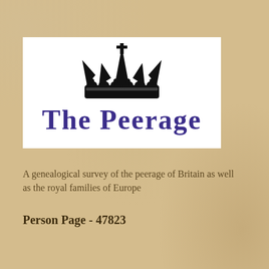[Figure (logo): The Peerage logo: a black heraldic crown above the text 'THE PEERAGE' in large purple serif letters, on a white background]
A genealogical survey of the peerage of Britain as well as the royal families of Europe
Person Page - 47823